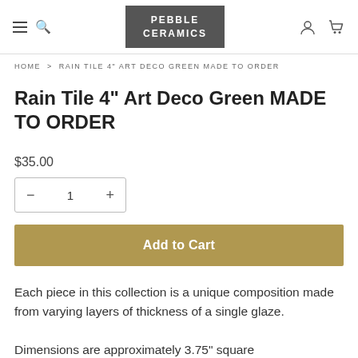PEBBLE CERAMICS
HOME > RAIN TILE 4" ART DECO GREEN MADE TO ORDER
Rain Tile 4" Art Deco Green MADE TO ORDER
$35.00
− 1 +
Add to Cart
Each piece in this collection is a unique composition made from varying layers of thickness of a single glaze.

Dimensions are approximately 3.75" square